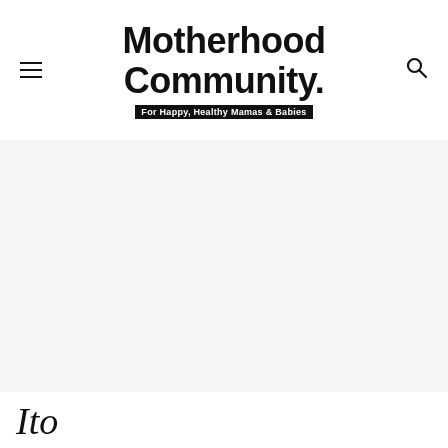Motherhood Community. For Happy, Healthy Mamas & Babies
[Figure (other): Large light gray placeholder image area below the website header]
Ito